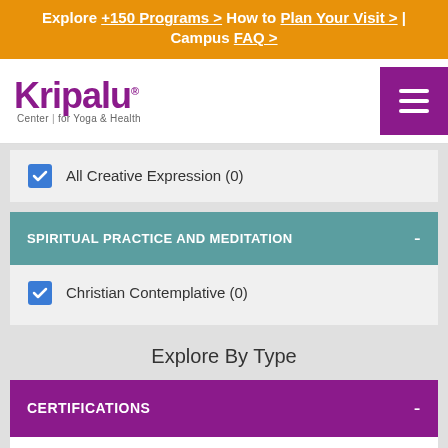Explore +150 Programs > How to Plan Your Visit > | Campus FAQ >
[Figure (logo): Kripalu Center for Yoga & Health logo]
All Creative Expression (0)
SPIRITUAL PRACTICE AND MEDITATION -
Christian Contemplative (0)
Explore By Type
CERTIFICATIONS -